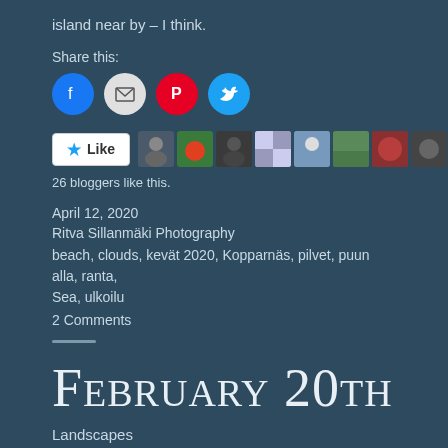island near by – I think.
Share this:
[Figure (infographic): Social sharing icons: Facebook (blue circle), Email (grey circle), Pinterest (red circle), Twitter (cyan circle)]
[Figure (infographic): Like button and 9 blogger avatar thumbnails]
26 bloggers like this.
April 12, 2020
Ritva Sillanmäki Photography
beach, clouds, kevät 2020, Kopparnäs, pilvet, puun alla, ranta, Sea, ulkoilu
2 Comments
February 20th
Landscapes